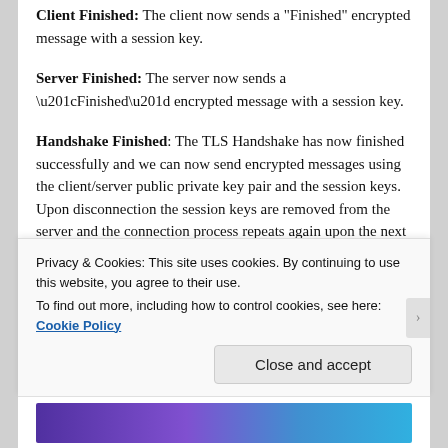Client Finished: The client now sends a "Finished" encrypted message with a session key.
Server Finished: The server now sends a “Finished” encrypted message with a session key.
Handshake Finished: The TLS Handshake has now finished successfully and we can now send encrypted messages using the client/server public private key pair and the session keys. Upon disconnection the session keys are removed from the server and the connection process repeats again upon the next Client Hello.
[Figure (photo): Partial image strip showing a blue-green gradient on the left and a golden/yellow textured object on the right, with a small Aa badge overlay.]
Privacy & Cookies: This site uses cookies. By continuing to use this website, you agree to their use.
To find out more, including how to control cookies, see here: Cookie Policy